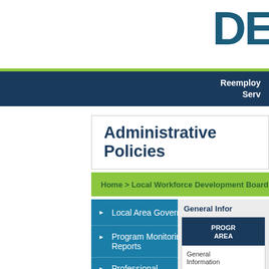[Figure (logo): DE logo partial text in dark navy blue large bold font]
Reemployment
Serv
Administrative Policies
Home > Local Workforce Development Board Res
Local Area Governance
Program Monitoring and Reports
Professional Development and Training
General Infor
PROGR AREA